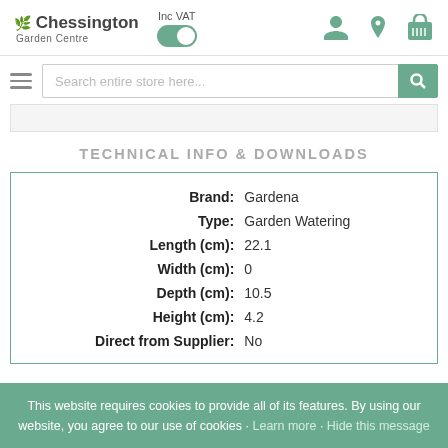Chessington Garden Centre - Inc VAT toggle, user/location/cart icons, search bar
TECHNICAL INFO & DOWNLOADS
| Field | Value |
| --- | --- |
| Brand: | Gardena |
| Type: | Garden Watering |
| Length (cm): | 22.1 |
| Width (cm): | 0 |
| Depth (cm): | 10.5 |
| Height (cm): | 4.2 |
| Direct from Supplier: | No |
This website requires cookies to provide all of its features. By using our website, you agree to our use of cookies · Learn more · Hide this message